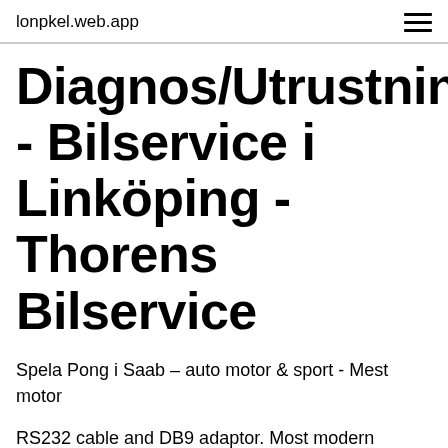lonpkel.web.app
Diagnos/Utrustning - Bilservice i Linköping - Thorens Bilservice
Spela Pong i Saab – auto motor & sport - Mest motor
RS232 cable and DB9 adaptor. Most modern laptops and desktops do not have a serial port. if